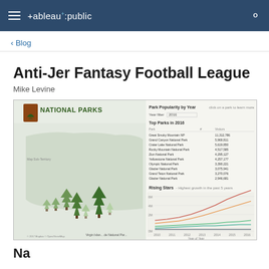tableau+public
< Blog
Anti-Jer Fantasy Football League
Mike Levine
[Figure (screenshot): Tableau Public visualization of National Parks data showing a map of the US with tree icons representing national parks, a table of Top Parks in 2016, and a Rising Stars line chart showing highest growth in the past 5 years.]
National Par...